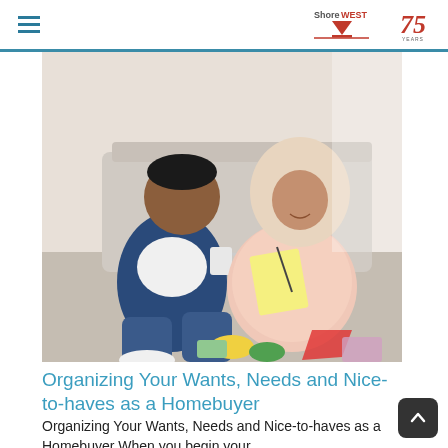Shorewest 75 Years
[Figure (photo): A couple sitting on the floor in a living room. A man in a denim shirt holds a mug and a pregnant woman wearing a hijab holds a notebook and pen. Baby items are scattered on the floor in front of them.]
Organizing Your Wants, Needs and Nice-to-haves as a Homebuyer
Organizing Your Wants, Needs and Nice-to-haves as a Homebuyer When you begin your